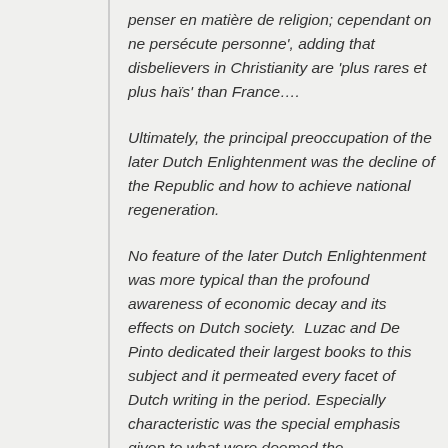penser en matière de religion; cependant on ne persécute personne', adding that disbelievers in Christianity are 'plus rares et plus haïs' than France….
Ultimately, the principal preoccupation of the later Dutch Enlightenment was the decline of the Republic and how to achieve national regeneration.
No feature of the later Dutch Enlightenment was more typical than the profound awareness of economic decay and its effects on Dutch society.  Luzac and De Pinto dedicated their largest books to this subject and it permeated every facet of Dutch writing in the period. Especially characteristic was the special emphasis given to what were deemed the